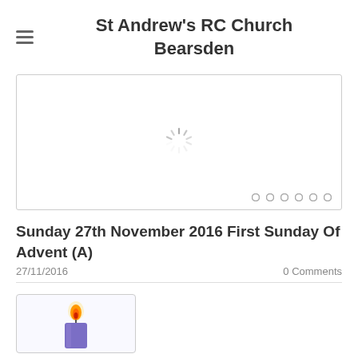St Andrew's RC Church Bearsden
[Figure (other): Image slider with loading spinner and 6 navigation dots]
Sunday 27th November 2016 First Sunday Of Advent (A)
27/11/2016    0 Comments
[Figure (illustration): Advent candle illustration showing a lit purple candle with flame]